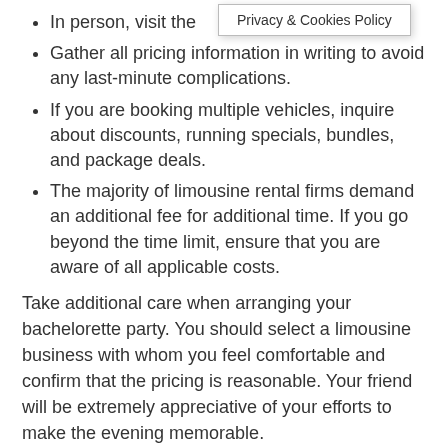[Figure (other): Tooltip/popup box showing 'Privacy & Cookies Policy']
In person, visit the
Gather all pricing information in writing to avoid any last-minute complications.
If you are booking multiple vehicles, inquire about discounts, running specials, bundles, and package deals.
The majority of limousine rental firms demand an additional fee for additional time. If you go beyond the time limit, ensure that you are aware of all applicable costs.
Take additional care when arranging your bachelorette party. You should select a limousine business with whom you feel comfortable and confirm that the pricing is reasonable. Your friend will be extremely appreciative of your efforts to make the evening memorable.